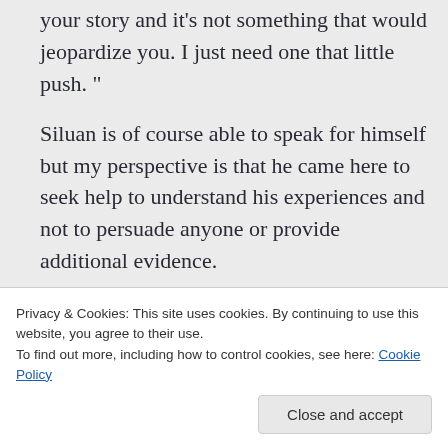your story and it's not something that would jeopardize you. I just need one that little push. "

Siluan is of course able to speak for himself but my perspective is that he came here to seek help to understand his experiences and not to persuade anyone or provide additional evidence.
Privacy & Cookies: This site uses cookies. By continuing to use this website, you agree to their use.
To find out more, including how to control cookies, see here: Cookie Policy
Close and accept
1:42 am